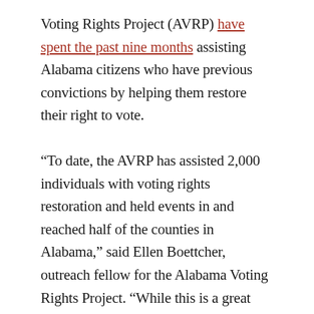Voting Rights Project (AVRP) have spent the past nine months assisting Alabama citizens who have previous convictions by helping them restore their right to vote.

“To date, the AVRP has assisted 2,000 individuals with voting rights restoration and held events in and reached half of the counties in Alabama,” said Ellen Boettcher, outreach fellow for the Alabama Voting Rights Project. “While this is a great success, we still have a long way to go before we reach the tens to hundred thousand Alabamians who received their voting rights back.